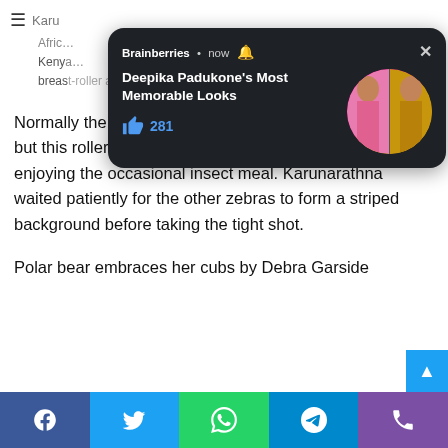Karu... (partial text obscured by notification overlay)
[Figure (screenshot): Brainberries notification overlay on dark background showing 'Deepika Padukone's Most Memorable Looks' with a circular image of Deepika Padukone in two outfits, a thumbs up icon with 281 likes, a bell icon, and an X close button.]
Normally the birds prefer to perch high up in the foliage, but this roller spent an hour or more riding around and enjoying the occasional insect meal. Karunarathna waited patiently for the other zebras to form a striped background before taking the tight shot.
Polar bear embraces her cubs by Debra Garside